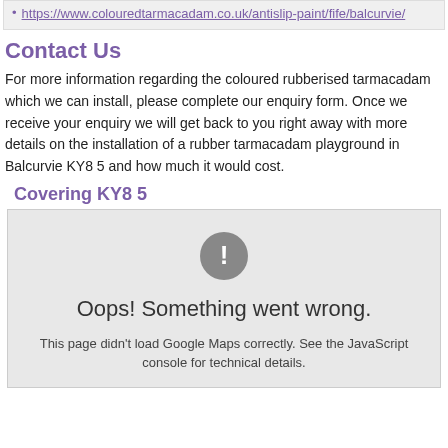https://www.colouredtarmacadam.co.uk/antislip-paint/fife/balcurvie/
Contact Us
For more information regarding the coloured rubberised tarmacadam which we can install, please complete our enquiry form. Once we receive your enquiry we will get back to you right away with more details on the installation of a rubber tarmacadam playground in Balcurvie KY8 5 and how much it would cost.
Covering KY8 5
[Figure (screenshot): Google Maps error box with grey background showing exclamation mark icon and text 'Oops! Something went wrong.' and 'This page didn't load Google Maps correctly. See the JavaScript console for technical details.']